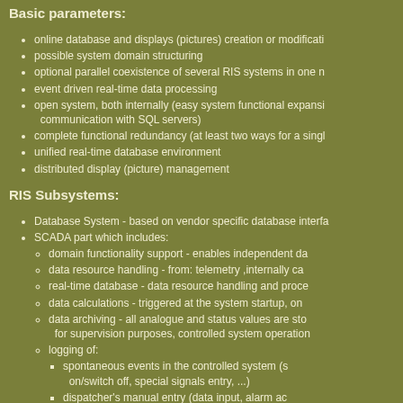Basic parameters:
online database and displays (pictures) creation or modification
possible system domain structuring
optional parallel coexistence of several RIS systems in one n
event driven real-time data processing
open system, both internally (easy system functional expansi... communication with SQL servers)
complete functional redundancy (at least two ways for a singl
unified real-time database environment
distributed display (picture) management
RIS Subsystems:
Database System - based on vendor specific database interfa
SCADA part which includes:
domain functionality support - enables independent da
data resource handling - from: telemetry ,internally ca
real-time database - data resource handling and proce
data calculations - triggered at the system startup, on
data archiving - all analogue and status values are sto... for supervision purposes, controlled system operation
logging of:
spontaneous events in the controlled system (s... on/switch off, special signals entry, ...)
dispatcher's manual entry (data input, alarm ac
important changes in telecommunication lines c
user administration - access rights to system data and
computers administration
LAN administration - permanent monitoring of netw